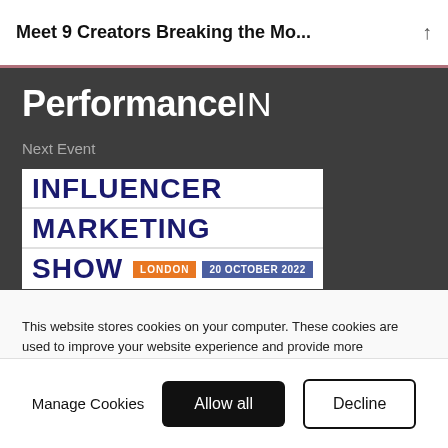Meet 9 Creators Breaking the Mo...
[Figure (logo): PerformanceIN logo in white bold text on dark background]
Next Event
[Figure (logo): Influencer Marketing Show London 20 October 2022 logo on white box]
This website stores cookies on your computer. These cookies are used to improve your website experience and provide more personalised services to you, both on this website and through other media. To find out more about the cookies we use, see our privacy policy.
Manage Cookies  Allow all  Decline